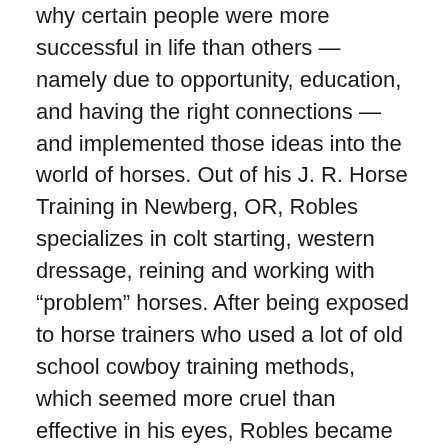why certain people were more successful in life than others — namely due to opportunity, education, and having the right connections — and implemented those ideas into the world of horses. Out of his J. R. Horse Training in Newberg, OR, Robles specializes in colt starting, western dressage, reining and working with "problem" horses. After being exposed to horse trainers who used a lot of old school cowboy training methods, which seemed more cruel than effective in his eyes, Robles became fascinated with natural horsemanship, and now uses it as the driving teaching method in his training. When he's not training or teaching clinics, Robles enjoys competing in colt starting competitions. Robles was named the Colt Starting Reserve Champion during the Wrangler National Finals Rodeo in 2016.